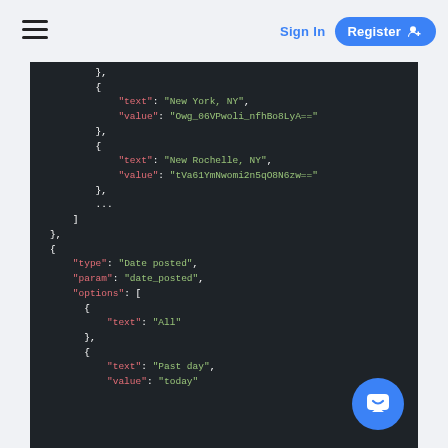Sign In  Register
[Figure (screenshot): Dark-themed code editor showing JSON data with keys in pink/red and string values in green on a dark background (#1e2328). The JSON contains location options (New York NY, New Rochelle NY) and a date_posted filter object with options including All, Past day.]